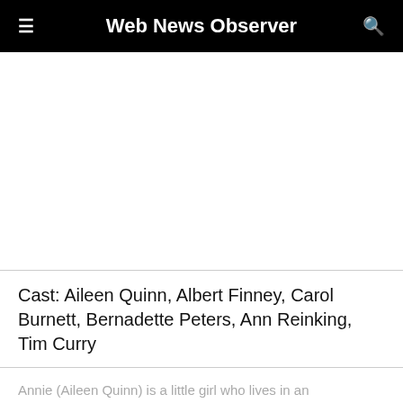Web News Observer
Cast: Aileen Quinn, Albert Finney, Carol Burnett, Bernadette Peters, Ann Reinking, Tim Curry
Annie (Aileen Quinn) is a little girl who lives in an